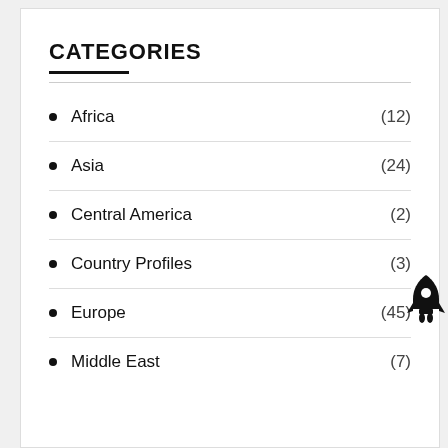CATEGORIES
Africa (12)
Asia (24)
Central America (2)
Country Profiles (3)
Europe (45)
Middle East (7)
[Figure (illustration): Rocket ship icon in black, positioned at lower right of the Europe list item]